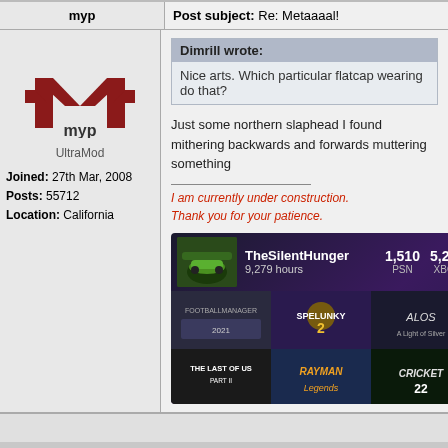myp | Post subject: Re: Metaaaal!
[Figure (logo): myp logo — stylized red M lettermark above the text 'myp']
UltraMod
Joined: 27th Mar, 2008
Posts: 55712
Location: California
Dimrill wrote:
Nice arts. Which particular flatcap wearing do that?
Just some northern slaphead I found mithering backwards and forwards muttering something
I am currently under construction.
Thank you for your patience.
[Figure (screenshot): Gaming profile card for TheSilentHunger showing 9,279 hours, 1,510 PSN, 5,235 XBOX, with game thumbnails including The Last of Us Part II, Rayman Legends, Cricket 22, Spelunky 2, ALOS]